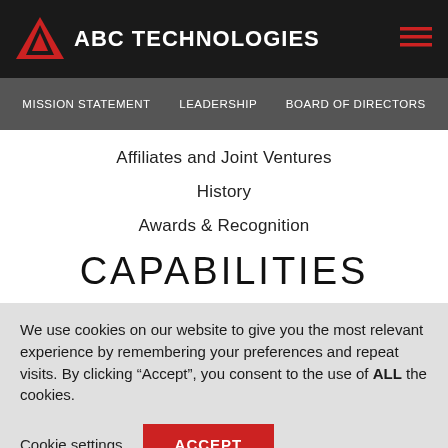ABC TECHNOLOGIES
MISSION STATEMENT  LEADERSHIP  BOARD OF DIRECTORS
Affiliates and Joint Ventures
History
Awards & Recognition
CAPABILITIES
We use cookies on our website to give you the most relevant experience by remembering your preferences and repeat visits. By clicking “Accept”, you consent to the use of ALL the cookies.
Cookie settings  ACCEPT